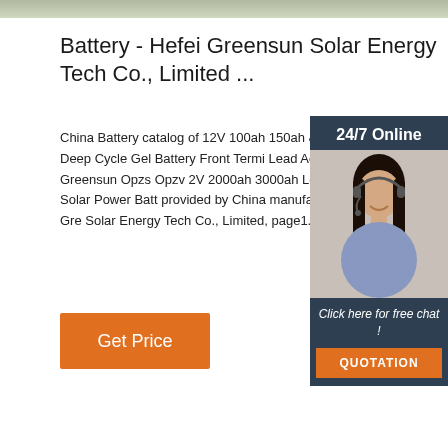[Figure (photo): Top image bar showing partial product/person photo]
Battery - Hefei Greensun Solar Energy Tech Co., Limited ...
China Battery catalog of 12V 100ah 150ah Battery Deep Cycle Gel Battery Front Terminal Lead Acid Battery, Greensun Opzs Opzv 2V 2000ah 3000ah Lead Acid Solar Power Battery provided by China manufacturer - Hefei Greensun Solar Energy Tech Co., Limited, page1.
[Figure (photo): 24/7 Online chat widget with photo of woman wearing headset, Click here for free chat!, QUOTATION button]
Get Price